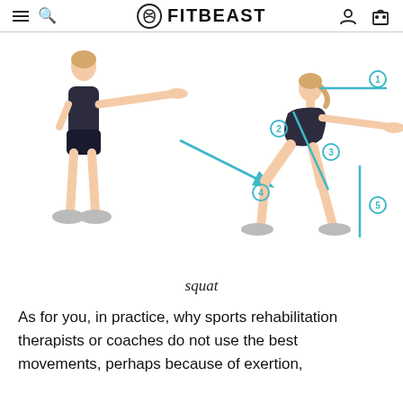FITBEAST
[Figure (illustration): Two-panel squat exercise diagram. Left: woman standing upright with arms extended forward. Right: same woman in squat position with blue annotation lines and circled numbers 1-5 indicating key body alignment points. A blue arrow points from standing to squat position.]
squat
As for you, in practice, why sports rehabilitation therapists or coaches do not use the best movements, perhaps because of exertion,